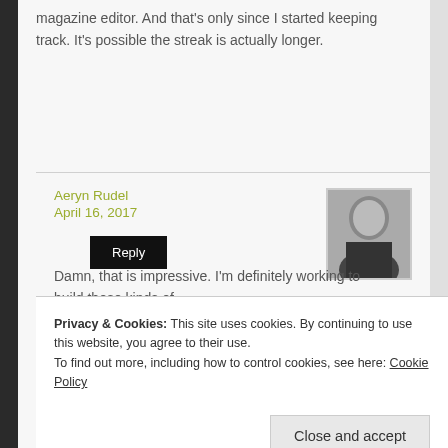magazine editor. And that's only since I started keeping track. It's possible the streak is actually longer.
Reply
Aeryn Rudel
April 16, 2017
[Figure (photo): Black and white headshot photo of a bald man in a dark shirt]
Damn, that is impressive. I'm definitely working to build those kinds of
Privacy & Cookies: This site uses cookies. By continuing to use this website, you agree to their use.
To find out more, including how to control cookies, see here: Cookie Policy
Close and accept
Leave a Re